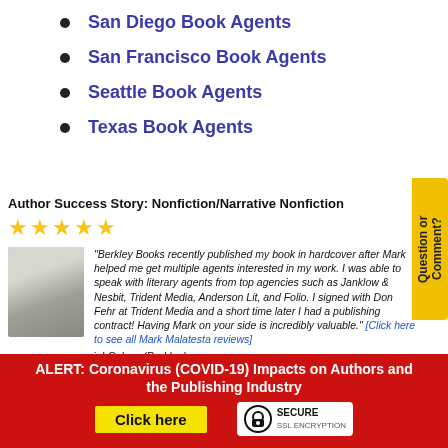San Diego Book Agents
San Francisco Book Agents
Seattle Book Agents
Texas Book Agents
Author Success Story: Nonfiction/Narrative Nonfiction
"Berkley Books recently published my book in hardcover after Mark helped me get multiple agents interested in my work. I was able to speak with literary agents from top agencies such as Janklow & Nesbit, Trident Media, Anderson Lit, and Folio. I signed with Don Fehr at Trident Media and a short time later I had a publishing contract! Having Mark on your side is incredibly valuable." [Click here to see all Mark Malatesta reviews]
iel Cohen (Berkley)
ALERT: Coronavirus (COVID-19) Impacts on Authors and the Publishing Industry
Click here